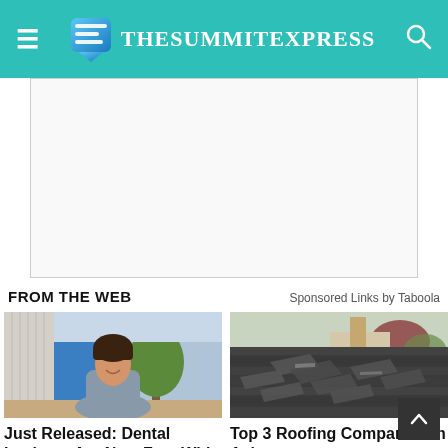TheSummitExpress
[Figure (other): Advertisement banner placeholder (white/light gray box)]
FROM THE WEB
Sponsored Links by Taboola
[Figure (photo): Woman in blue/gray fitted top smiling outdoors in front of trees and a building]
Just Released: Dental Implants Are Now Free With Medicare. See...
[Figure (photo): Damaged roof shingles curled and lifted on a residential rooftop with trees in background]
Top 3 Roofing Companies In Ash
Roof Restoration | Sponsored Search